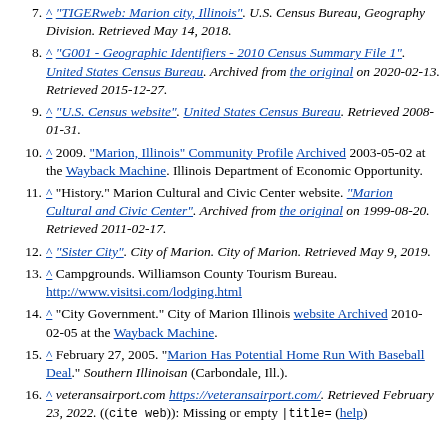7. ^ "TIGERweb: Marion city, Illinois". U.S. Census Bureau, Geography Division. Retrieved May 14, 2018.
8. ^ "G001 - Geographic Identifiers - 2010 Census Summary File 1". United States Census Bureau. Archived from the original on 2020-02-13. Retrieved 2015-12-27.
9. ^ "U.S. Census website". United States Census Bureau. Retrieved 2008-01-31.
10. ^ 2009. "Marion, Illinois" Community Profile Archived 2003-05-02 at the Wayback Machine. Illinois Department of Economic Opportunity.
11. ^ "History." Marion Cultural and Civic Center website. "Marion Cultural and Civic Center". Archived from the original on 1999-08-20. Retrieved 2011-02-17.
12. ^ "Sister City". City of Marion. City of Marion. Retrieved May 9, 2019.
13. ^ Campgrounds. Williamson County Tourism Bureau. http://www.visitsi.com/lodging.html
14. ^ "City Government." City of Marion Illinois website Archived 2010-02-05 at the Wayback Machine.
15. ^ February 27, 2005. "Marion Has Potential Home Run With Baseball Deal." Southern Illinoisan (Carbondale, Ill.).
16. ^ veteransairport.com https://veteransairport.com/. Retrieved February 23, 2022. ((cite web)): Missing or empty |title= (help)